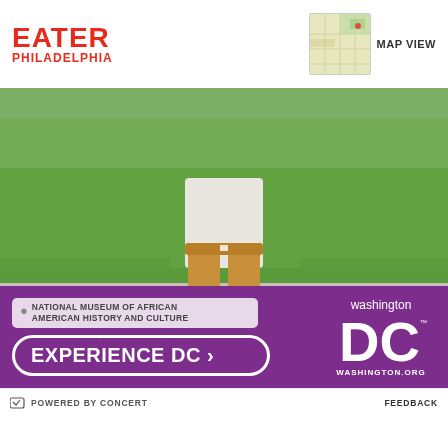EATER PHILADELPHIA
MAP VIEW
[Figure (photo): Child standing on a granite ledge/steps outdoors on green grass, wearing tan/khaki pants and white shirt, with the lower half of body visible. Background shows lush green lawn. Lower portion transitions into a purple/violet overlay advertising Washington DC tourism.]
NATIONAL MUSEUM OF AFRICAN AMERICAN HISTORY AND CULTURE
EXPERIENCE DC >
[Figure (logo): Washington DC logo - text 'washington' above large 'DC' with a star, and 'WASHINGTON.ORG' below, all in white on purple background]
POWERED BY CONCERT   FEEDBACK